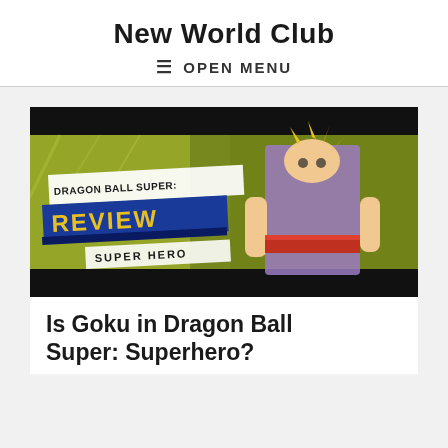New World Club
≡ OPEN MENU
[Figure (screenshot): Dragon Ball Super: Super Hero review thumbnail image featuring an anime character (Super Saiyan) with text overlays reading 'DRAGON BALL SUPER: REVIEW SUPER HERO' on a yellow-green background with black letterbox bars.]
Is Goku in Dragon Ball Super: Superhero?